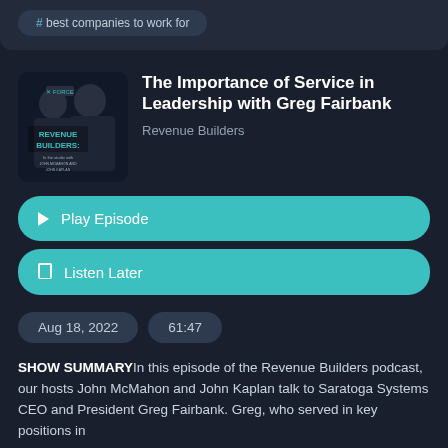# best companies to work for
The Importance of Service in Leadership with Greg Fairbank
Revenue Builders
[Figure (screenshot): Revenue Builders podcast cover art showing two men in suits with text 'REVENUE BUILDERS: In the studio with John McMahon and John Kaplan']
Play Episode
Listen Later
Aug 18, 2022
61:47
SHOW SUMMARYIn this episode of the Revenue Builders podcast, our hosts John McMahon and John Kaplan talk to Saratoga Systems CEO and President Greg Fairbank. Greg, who served in key positions in